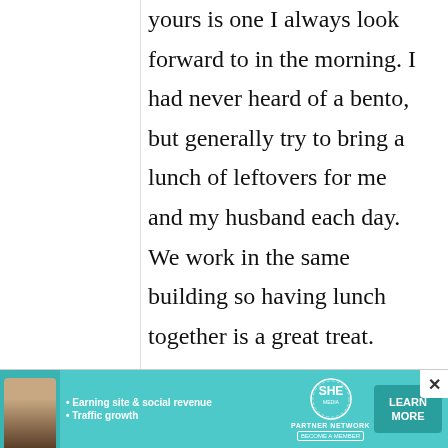yours is one I always look forward to in the morning. I had never heard of a bento, but generally try to bring a lunch of leftovers for me and my husband each day. We work in the same building so having lunch together is a great treat.

The tasty recipes and
[Figure (infographic): Advertisement banner for SHE Partner Network with teal background, woman photo, bullet points about Earning site & social revenue and Traffic growth, SHE logo, and Learn More button.]